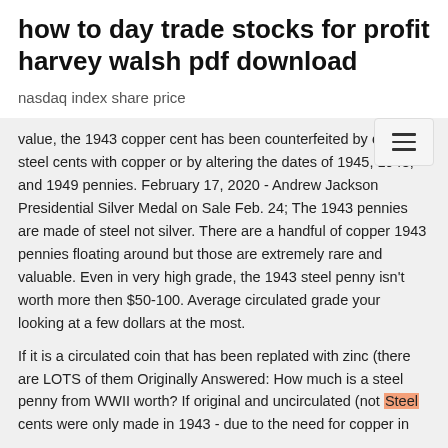how to day trade stocks for profit harvey walsh pdf download
nasdaq index share price
value, the 1943 copper cent has been counterfeited by coating steel cents with copper or by altering the dates of 1945, 1948, and 1949 pennies. February 17, 2020 - Andrew Jackson Presidential Silver Medal on Sale Feb. 24; The 1943 pennies are made of steel not silver. There are a handful of copper 1943 pennies floating around but those are extremely rare and valuable. Even in very high grade, the 1943 steel penny isn't worth more then $50-100. Average circulated grade your looking at a few dollars at the most.
If it is a circulated coin that has been replated with zinc (there are LOTS of them Originally Answered: How much is a steel penny from WWII worth? If original and uncirculated (not Steel cents were only made in 1943 - due to the need for copper in